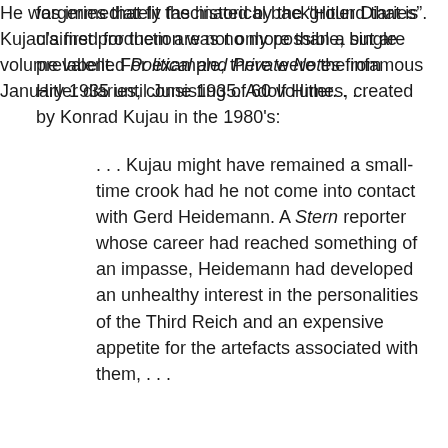forgeries that fit the historical background that is claimed for them are not only possible, but are prevalent. For example, there were the infamous Hitler diaries, consisting of 60 volumes, created by Konrad Kujau in the 1980's:
. . . Kujau might have remained a small-time crook had he not come into contact with Gerd Heidemann. A Stern reporter whose career had reached something of an impasse, Heidemann had developed an unhealthy interest in the personalities of the Third Reich and an expensive appetite for the artefacts associated with them, . . .
He was immediately fascinated by the “Hitler Diaries”. Kujau’s first production was no more than a single volume labelled Political and Private Notes from January 1935 until June 1935. Adolf Hitler. . . .